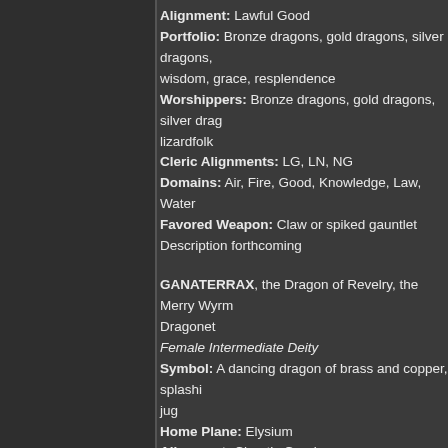Alignment: Lawful Good
Portfolio: Bronze dragons, gold dragons, silver dragons, wisdom, grace, resplendence
Worshippers: Bronze dragons, gold dragons, silver drag... lizardfolk
Cleric Alignments: LG, LN, NG
Domains: Air, Fire, Good, Knowledge, Law, Water
Favored Weapon: Claw or spiked gauntlet
Description forthcoming
GANATERRAX, the Dragon of Revelry, the Merry Wyrm Dragonet
Female Intermediate Deity
Symbol: A dancing dragon of brass and copper, splashing jug
Home Plane: Elysium
Alignment: Chaotic Good
Portfolio: Brass dragons, copper dragons, lillends, freedom, humor, revelry
Worshippers: Brass dragons, copper dragons, lillends, b...
Cleric Alignments: CG, CN, NG
Domains: Charm, Chaos, Earth, Fire, Good, Liberation
Favored Weapon: Bite or unarmed strike
Description forthcoming